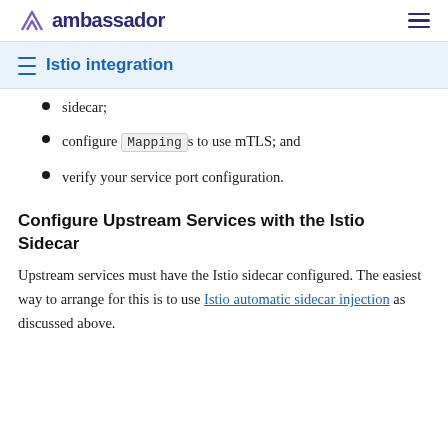ambassador
Istio integration
sidecar;
configure Mappings to use mTLS; and
verify your service port configuration.
Configure Upstream Services with the Istio Sidecar
Upstream services must have the Istio sidecar configured. The easiest way to arrange for this is to use Istio automatic sidecar injection as discussed above.